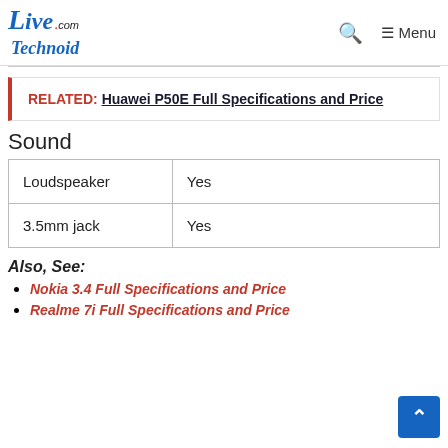LiveTechnoid.com — Menu
RELATED: Huawei P50E Full Specifications and Price
Sound
| Loudspeaker | Yes |
| 3.5mm jack | Yes |
Also, See:
Nokia 3.4 Full Specifications and Price
Realme 7i Full Specifications and Price